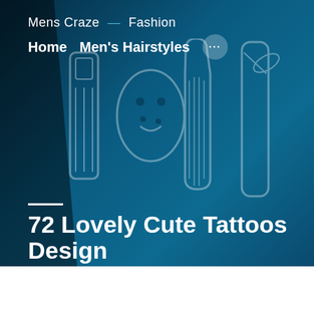Mens Craze — Fashion
Home  Men's Hairstyles  •••
[Figure (illustration): Tattoo design illustration showing barber/grooming tools including combs, clippers, and scissors drawn in outline style on a teal/dark blue background]
72 Lovely Cute Tattoos Design
Admin  July 21, 2016